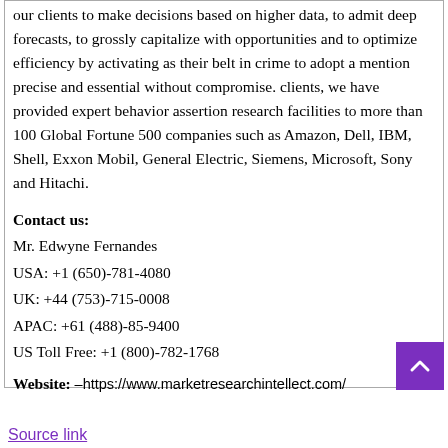our clients to make decisions based on higher data, to admit deep forecasts, to grossly capitalize with opportunities and to optimize efficiency by activating as their belt in crime to adopt a mention precise and essential without compromise. clients, we have provided expert behavior assertion research facilities to more than 100 Global Fortune 500 companies such as Amazon, Dell, IBM, Shell, Exxon Mobil, General Electric, Siemens, Microsoft, Sony and Hitachi.
Contact us:
Mr. Edwyne Fernandes
USA: +1 (650)-781-4080
UK: +44 (753)-715-0008
APAC: +61 (488)-85-9400
US Toll Free: +1 (800)-782-1768
Website: –https://www.marketresearchintellect.com/
Source link